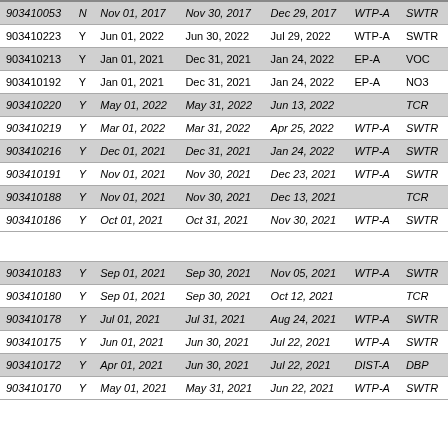| 903410053 | N | Nov 01, 2017 | Nov 30, 2017 | Dec 29, 2017 | WTP-A | SWTR |
| 903410223 | Y | Jun 01, 2022 | Jun 30, 2022 | Jul 29, 2022 | WTP-A | SWTR |
| 903410213 | Y | Jan 01, 2021 | Dec 31, 2021 | Jan 24, 2022 | EP-A | VOC |
| 903410192 | Y | Jan 01, 2021 | Dec 31, 2021 | Jan 24, 2022 | EP-A | NO3 |
| 903410220 | Y | May 01, 2022 | May 31, 2022 | Jun 13, 2022 |  | TCR |
| 903410219 | Y | Mar 01, 2022 | Mar 31, 2022 | Apr 25, 2022 | WTP-A | SWTR |
| 903410216 | Y | Dec 01, 2021 | Dec 31, 2021 | Jan 24, 2022 | WTP-A | SWTR |
| 903410191 | Y | Nov 01, 2021 | Nov 30, 2021 | Dec 23, 2021 | WTP-A | SWTR |
| 903410188 | Y | Nov 01, 2021 | Nov 30, 2021 | Dec 13, 2021 |  | TCR |
| 903410186 | Y | Oct 01, 2021 | Oct 31, 2021 | Nov 30, 2021 | WTP-A | SWTR |
|  |  |  |  |  |  |  |
| 903410183 | Y | Sep 01, 2021 | Sep 30, 2021 | Nov 05, 2021 | WTP-A | SWTR |
| 903410180 | Y | Sep 01, 2021 | Sep 30, 2021 | Oct 12, 2021 |  | TCR |
| 903410178 | Y | Jul 01, 2021 | Jul 31, 2021 | Aug 24, 2021 | WTP-A | SWTR |
| 903410175 | Y | Jun 01, 2021 | Jun 30, 2021 | Jul 22, 2021 | WTP-A | SWTR |
| 903410172 | Y | Apr 01, 2021 | Jun 30, 2021 | Jul 22, 2021 | DIST-A | DBP |
| 903410170 | Y | May 01, 2021 | May 31, 2021 | Jun 22, 2021 | WTP-A | SWTR |